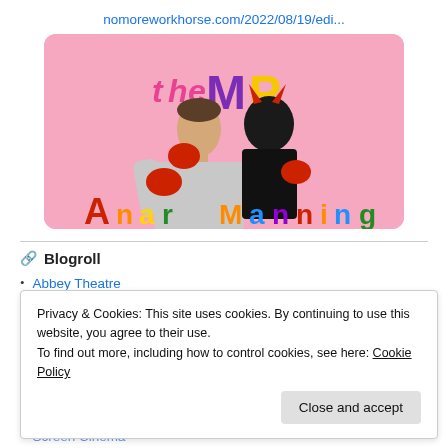nomoreworkhorse.com/2022/08/19/edi...
[Figure (photo): Pink background promotional image for 'the MP' show featuring a man holding a puppet/mask figure, with colorful magnetic letters scattered around them.]
Blogroll
Abbey Theatre
Axis Ballymun
Privacy & Cookies: This site uses cookies. By continuing to use this website, you agree to their use.
To find out more, including how to control cookies, see here: Cookie Policy
Screen Cinema